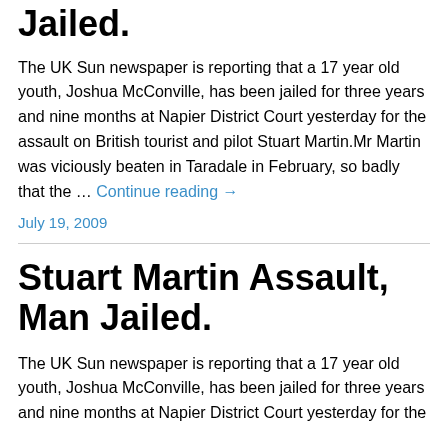Jailed.
The UK Sun newspaper is reporting that a 17 year old youth, Joshua McConville, has been jailed for three years and nine months at Napier District Court yesterday for the assault on British tourist and pilot Stuart Martin.Mr Martin was viciously beaten in Taradale in February, so badly that the … Continue reading →
July 19, 2009
Stuart Martin Assault, Man Jailed.
The UK Sun newspaper is reporting that a 17 year old youth, Joshua McConville, has been jailed for three years and nine months at Napier District Court yesterday for the